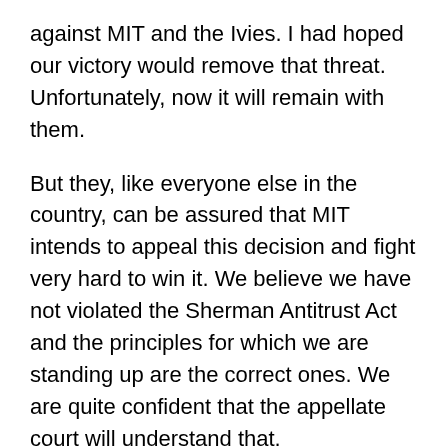against MIT and the Ivies. I had hoped our victory would remove that threat. Unfortunately, now it will remain with them.
But they, like everyone else in the country, can be assured that MIT intends to appeal this decision and fight very hard to win it. We believe we have not violated the Sherman Antitrust Act and the principles for which we are standing up are the correct ones. We are quite confident that the appellate court will understand that.
News Office: Briefly what is the case about?
CMV: From MIT's perspective, it's very simple. The case is about the ability of educational institutions to distribute aid in the form of financial ai...